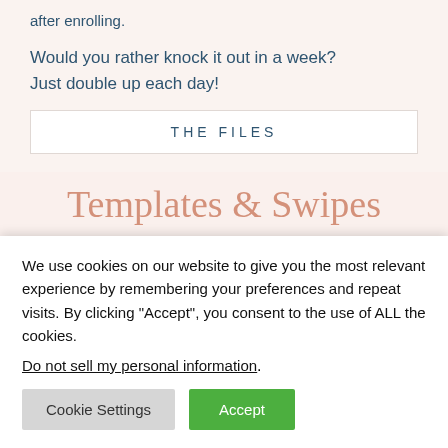after enrolling.
Would you rather knock it out in a week? Just double up each day!
THE FILES
Templates & Swipes
We're all about simplicity and saving you time!
We use cookies on our website to give you the most relevant experience by remembering your preferences and repeat visits. By clicking “Accept”, you consent to the use of ALL the cookies.
Do not sell my personal information.